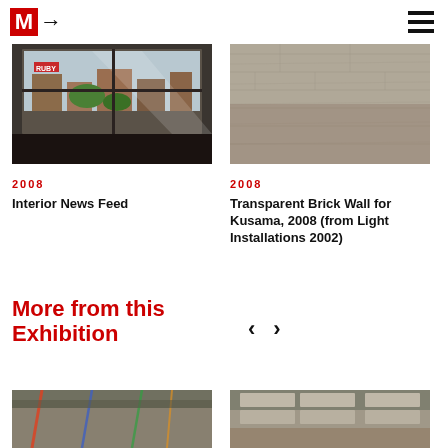MF logo and hamburger menu
[Figure (photo): Interior window view showing city buildings and green trees outside, with light streaming in]
2008
Interior News Feed
[Figure (photo): Close-up of a textured gray/brown brick or concrete wall surface]
2008
Transparent Brick Wall for Kusama, 2008 (from Light Installations 2002)
More from this Exhibition
[Figure (photo): Interior installation photo with colorful wires or tubes on ceiling]
[Figure (photo): Interior installation photo with ceiling panels]